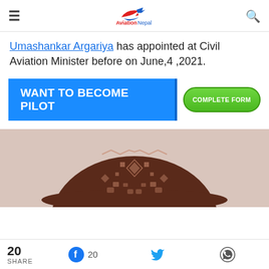AviationNepal
Umashankar Argariya has appointed at Civil Aviation Minister before on June,4 ,2021.
[Figure (infographic): Blue banner ad: WANT TO BECOME PILOT with green COMPLETE FORM button]
[Figure (photo): Photo of a dark brown patterned hat/cap with geometric designs on a light background]
20 SHARE  Facebook 20  Twitter  WhatsApp